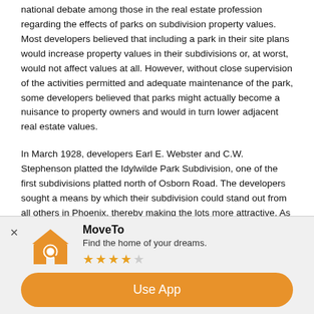national debate among those in the real estate profession regarding the effects of parks on subdivision property values. Most developers believed that including a park in their site plans would increase property values in their subdivisions or, at worst, would not affect values at all. However, without close supervision of the activities permitted and adequate maintenance of the park, some developers believed that parks might actually become a nuisance to property owners and would in turn lower adjacent real estate values.

In March 1928, developers Earl E. Webster and C.W. Stephenson platted the Idylwilde Park Subdivision, one of the first subdivisions platted north of Osborn Road. The developers sought a means by which their subdivision could stand out from all others in Phoenix, thereby making the lots more attractive. As a selling point, and in response to the concerns of city planners and other civic leaders, Webster and Stephenson incorporated a three-acre park into the layout of their one square block subdivision. Instead of placing the park at the corner or along the street, the park was situated in the center of the block. Residential lots were arranged in a loop along the outer perimeter of the park. Individual lot dimensions were reduced, but in return lot owners in the
[Figure (other): Mobile app advertisement banner for 'MoveTo - Find the home of your dreams.' with 3.5 star rating and orange 'Use App' button]